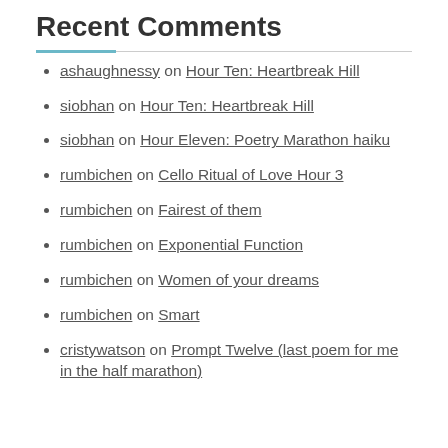Recent Comments
ashaughnessy on Hour Ten: Heartbreak Hill
siobhan on Hour Ten: Heartbreak Hill
siobhan on Hour Eleven: Poetry Marathon haiku
rumbichen on Cello Ritual of Love Hour 3
rumbichen on Fairest of them
rumbichen on Exponential Function
rumbichen on Women of your dreams
rumbichen on Smart
cristywatson on Prompt Twelve (last poem for me in the half marathon)